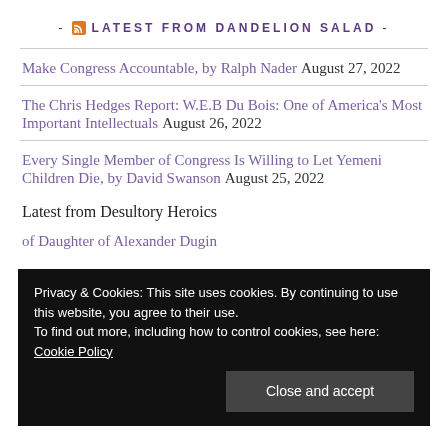- LATEST FROM DANDELION SALAD -
Make Congress Accountable, by Ralph Nader August 27, 2022
The Chris Hedges Report: W.E.B Du Bois: One of America's Most Important Intellectuals August 26, 2022
Every Single Member of Congress Is Willing to Let Yemeni Children Die, by David Swanson August 25, 2022
Latest from Desultory Heroics
Privacy & Cookies: This site uses cookies. By continuing to use this website, you agree to their use.
To find out more, including how to control cookies, see here: Cookie Policy
of Daughter of Alexander Dugin